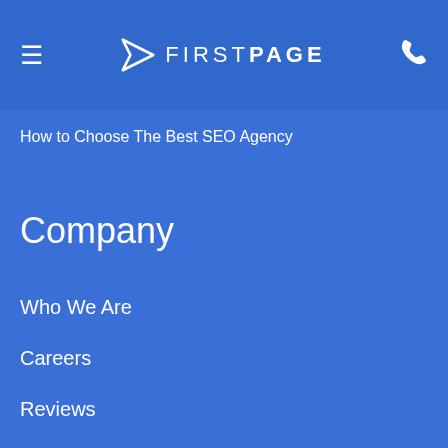[Figure (logo): FirstPage logo with navigation arrow icon and hamburger menu on left, phone icon on right, white on blue background]
How to Choose The Best SEO Agency
Company
Who We Are
Careers
Reviews
Contact
Blog
Videos